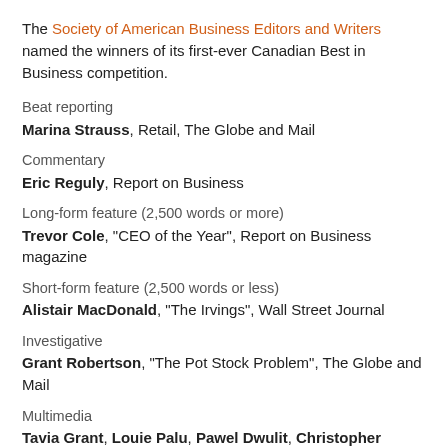The Society of American Business Editors and Writers named the winners of its first-ever Canadian Best in Business competition.
Beat reporting
Marina Strauss, Retail, The Globe and Mail
Commentary
Eric Reguly, Report on Business
Long-form feature (2,500 words or more)
Trevor Cole, "CEO of the Year", Report on Business magazine
Short-form feature (2,500 words or less)
Alistair MacDonald, "The Irvings", Wall Street Journal
Investigative
Grant Robertson, "The Pot Stock Problem", The Globe and Mail
Multimedia
Tavia Grant, Louie Palu, Pawel Dwulit, Christopher Manza, Laura Blenkinsop, Ted Mumford, "No Safe Use", The Globe and Mail